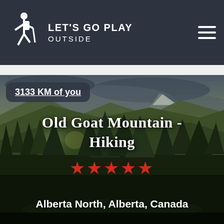LET'S GO PLAY OUTSIDE
[Figure (photo): Scenic mountain landscape with forested hills, coniferous trees, and snow-capped peaks in the background with dramatic sky]
3133 KM of you
Old Goat Mountain - Hiking
★★★★★
Alberta North, Alberta, Canada